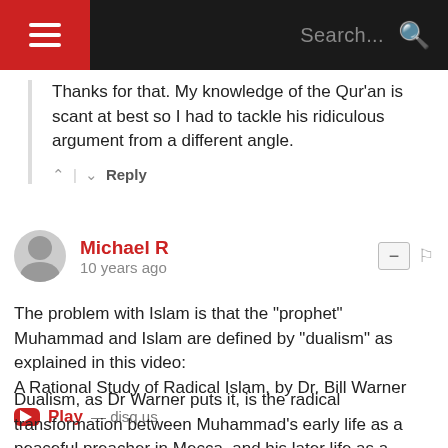☰ Search...
Thanks for that. My knowledge of the Qur'an is scant at best so I had to tackle his ridiculous argument from a different angle.
^ | v Reply
Michael R
10 years ago
The problem with Islam is that the "prophet" Muhammad and Islam are defined by "dualism" as explained in this video:
A Rational Study of Radical Islam, by Dr. Bill Warner
▶ Play — disq.us
Dualism, as Dr Warner puts it, is the radical transformation between Muhammad's early life as a peaceful preacher in Mecca, and his later life as a violent warlord in Medina. The Koran reflects this dualism with peaceful verses from his early period,